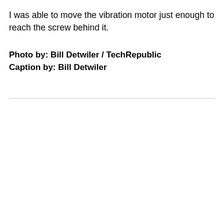I was able to move the vibration motor just enough to reach the screw behind it.
Photo by: Bill Detwiler / TechRepublic
Caption by: Bill Detwiler